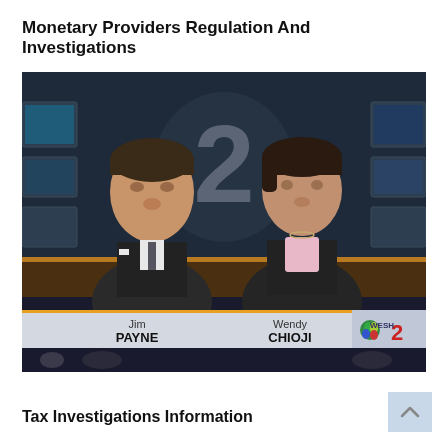Monetary Providers Regulation And Investigations
[Figure (photo): TV news broadcast screenshot showing two news anchors Jim Payne and Wendy Chioji at a desk in front of a WESH 2 news studio backdrop with a large number 2 logo. Lower third graphic shows their names: Jim PAYNE and Wendy CHIOJI with the WESH 2 logo.]
Tax Investigations Information